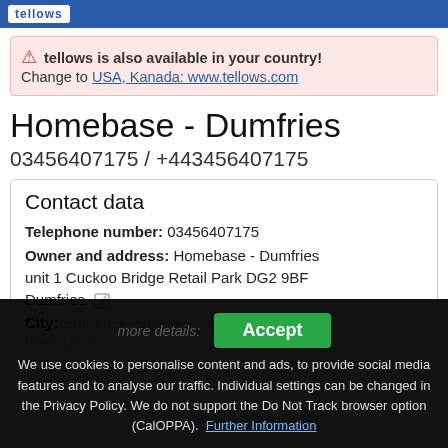tellows
tellows is also available in your country! Change to USA, Kanada: www.tellows.com
Homebase - Dumfries
03456407175 / +443456407175
Contact data
Telephone number: 03456407175
Owner and address: Homebase - Dumfries unit 1 Cuckoo Bridge Retail Park DG2 9BF Dumfries
City: Dumfries - United Kingdom
more details:
We use cookies to personalise content and ads, to provide social media features and to analyse our traffic. Individual settings can be changed in the Privacy Policy. We do not support the Do Not Track browser option (CalOPPA). Further Information